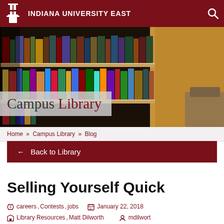INDIANA UNIVERSITY EAST
[Figure (photo): Close-up photo of library bookshelves with colorful books viewed from a low angle, with warm wood tones visible in background]
Campus Library
Home » Campus Library » Blog
← Back to Library
Selling Yourself Quick
careers, Contests, jobs   January 22, 2018
Library Resources, Matt Dilworth   mdilwort